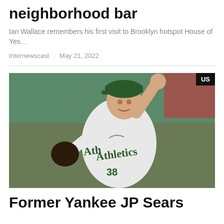neighborhood bar
Ian Wallace remembers his first visit to Brooklyn hotspot House of Yes…
Internewscast · May 21, 2022
[Figure (photo): Baseball pitcher wearing Oakland Athletics uniform number 38, mid-throw motion, with a 'US' badge in the top right corner of the image.]
Former Yankee JP Sears